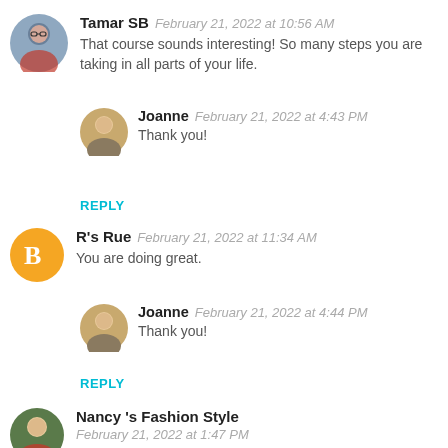[Figure (photo): Circular avatar photo of Tamar SB]
Tamar SB  February 21, 2022 at 10:56 AM
That course sounds interesting! So many steps you are taking in all parts of your life.
[Figure (photo): Circular avatar photo of Joanne]
Joanne  February 21, 2022 at 4:43 PM
Thank you!
REPLY
[Figure (logo): Blogger orange circle icon for R's Rue]
R's Rue  February 21, 2022 at 11:34 AM
You are doing great.
[Figure (photo): Circular avatar photo of Joanne]
Joanne  February 21, 2022 at 4:44 PM
Thank you!
REPLY
[Figure (photo): Circular avatar photo of Nancy's Fashion Style]
Nancy 's Fashion Style
February 21, 2022 at 1:47 PM